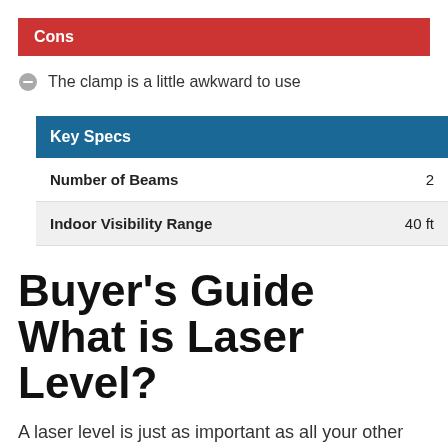Cons
The clamp is a little awkward to use
| Key Specs |  |
| --- | --- |
| Number of Beams | 2 |
| Indoor Visibility Range | 40 ft |
Buyer's Guide
What is Laser Level?
A laser level is just as important as all your other